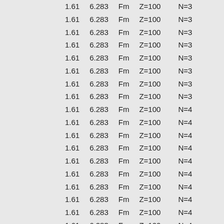|  |  | Symbol | Z | N |
| --- | --- | --- | --- | --- |
| 1.61 | 6.283 | Fm | Z=100 | N=3 |
| 1.61 | 6.283 | Fm | Z=100 | N=3 |
| 1.61 | 6.283 | Fm | Z=100 | N=3 |
| 1.61 | 6.283 | Fm | Z=100 | N=3 |
| 1.61 | 6.283 | Fm | Z=100 | N=3 |
| 1.61 | 6.283 | Fm | Z=100 | N=3 |
| 1.61 | 6.283 | Fm | Z=100 | N=3 |
| 1.61 | 6.283 | Fm | Z=100 | N=3 |
| 1.61 | 6.283 | Fm | Z=100 | N=4 |
| 1.61 | 6.283 | Fm | Z=100 | N=4 |
| 1.61 | 6.283 | Fm | Z=100 | N=4 |
| 1.61 | 6.283 | Fm | Z=100 | N=4 |
| 1.61 | 6.283 | Fm | Z=100 | N=4 |
| 1.61 | 6.283 | Fm | Z=100 | N=4 |
| 1.61 | 6.283 | Fm | Z=100 | N=4 |
| 1.61 | 6.283 | Fm | Z=100 | N=4 |
| 1.61 | 6.283 | Fm | Z=100 | N=4 |
| 1.61 | 6.283 | Fm | Z=100 | N=4 |
| 1.61 | 6.283 | Fm | Z=100 | N=5 |
| 1.61 | 6.283 | Fm | Z=100 | N=5 |
| 1.61 | 6.283 | Fm | Z=100 | N=5 |
| 1.61 | 6.283 | Fm | Z=100 | N=5 |
| 1.61 | 6.283 | Fm | Z=100 | N=5 |
| 1.61 | 6.283 | Fm | Z=100 | N=5 |